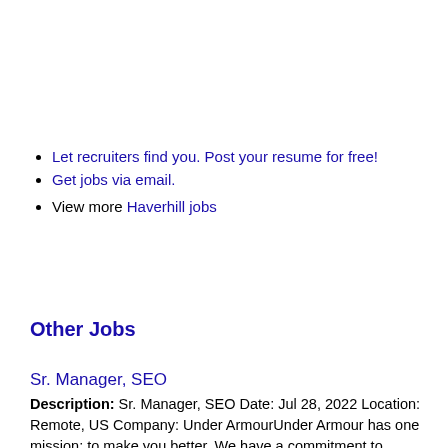Let recruiters find you. Post your resume for free!
Get jobs via email.
View more Haverhill jobs
Other Jobs
Sr. Manager, SEO
Description: Sr. Manager, SEO Date: Jul 28, 2022 Location: Remote, US Company: Under ArmourUnder Armour has one mission: to make you better. We have a commitment to innovation that lies at the heart of everything (more...)